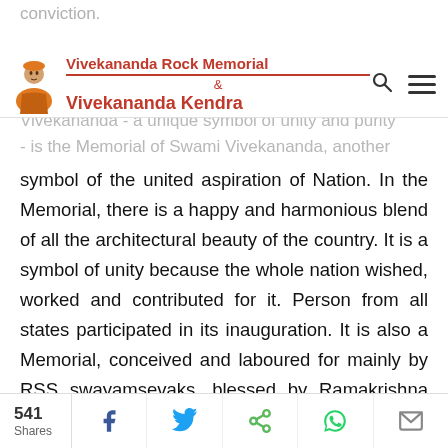conviction.
Vivekananda Rock Memorial & Vivekananda Kendra
Vivekananda - a unique symbol of unity and purity - is the Memorial of Swami Vivekananda, another symbol of the united aspiration of Nation. In the Memorial, there is a happy and harmonious blend of all the architectural beauty of the country. It is a symbol of unity because the whole nation wished, worked and contributed for it. Person from all states participated in its inauguration. It is also a Memorial, conceived and laboured for mainly by RSS swayamsevaks, blessed by Ramakrishna Mission, designed by Paramacharya of Kachi Kamakoti Peetham, and for which Swami Chinmayananda of
541 Shares